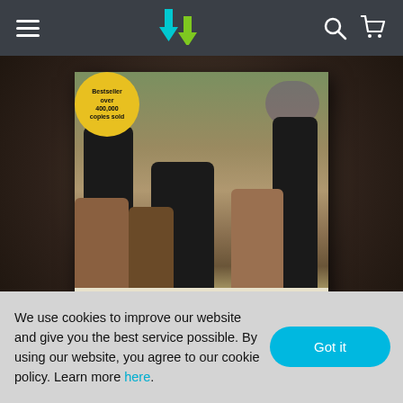Navigation bar with hamburger menu, logo, search and cart icons
[Figure (photo): Book cover of 'How To Be Your Dog's Best Friend' by The Monks of New Skete, showing monks with German Shepherd dogs in a garden setting. A yellow circular badge reads 'Bestseller over 400,000 copies sold'. The bottom of the cover shows the author name 'The Monks of New Skete' and title 'HOW TO BE']
We use cookies to improve our website and give you the best service possible. By using our website, you agree to our cookie policy. Learn more here.